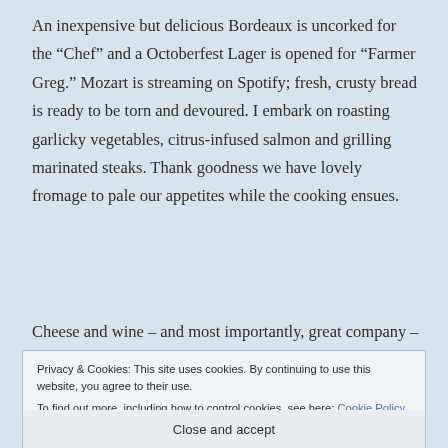An inexpensive but delicious Bordeaux is uncorked for the “Chef” and a Octoberfest Lager is opened for “Farmer Greg.” Mozart is streaming on Spotify; fresh, crusty bread is ready to be torn and devoured. I embark on roasting garlicky vegetables, citrus-infused salmon and grilling marinated steaks. Thank goodness we have lovely fromage to pale our appetites while the cooking ensues.
Cheese and wine – and most importantly, great company – are in my presence. Cooking. Wine. Cheese. Music. My
Privacy & Cookies: This site uses cookies. By continuing to use this website, you agree to their use.
To find out more, including how to control cookies, see here: Cookie Policy
Close and accept